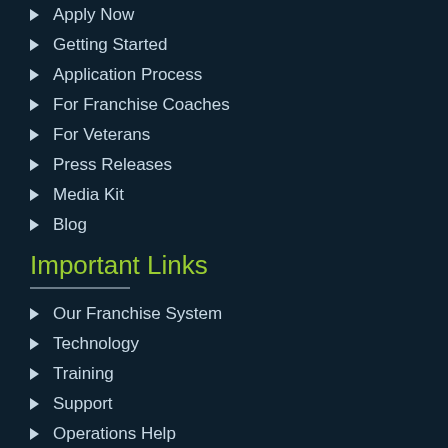Apply Now
Getting Started
Application Process
For Franchise Coaches
For Veterans
Press Releases
Media Kit
Blog
Important Links
Our Franchise System
Technology
Training
Support
Operations Help